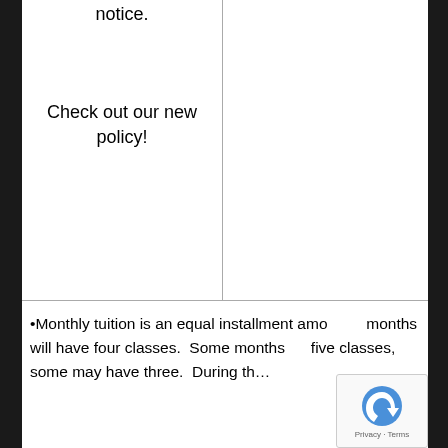notice.
Check out our new policy!
•Monthly tuition is an equal installment amo... months will have four classes.  Some months five classes, some may have three.  During th...